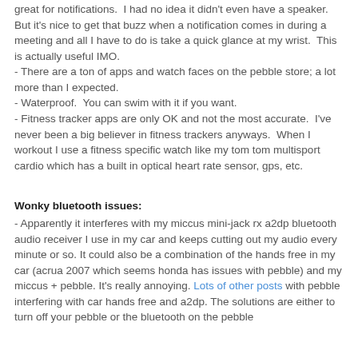great for notifications.  I had no idea it didn't even have a speaker.  But it's nice to get that buzz when a notification comes in during a meeting and all I have to do is take a quick glance at my wrist.  This is actually useful IMO.
- There are a ton of apps and watch faces on the pebble store; a lot more than I expected.
- Waterproof.  You can swim with it if you want.
- Fitness tracker apps are only OK and not the most accurate.  I've never been a big believer in fitness trackers anyways.  When I workout I use a fitness specific watch like my tom tom multisport cardio which has a built in optical heart rate sensor, gps, etc.
Wonky bluetooth issues:
- Apparently it interferes with my miccus mini-jack rx a2dp bluetooth audio receiver I use in my car and keeps cutting out my audio every minute or so. It could also be a combination of the hands free in my car (acrua 2007 which seems honda has issues with pebble) and my miccus + pebble. It's really annoying. Lots of other posts with pebble interfering with car hands free and a2dp. The solutions are either to turn off your pebble or the bluetooth on the pebble